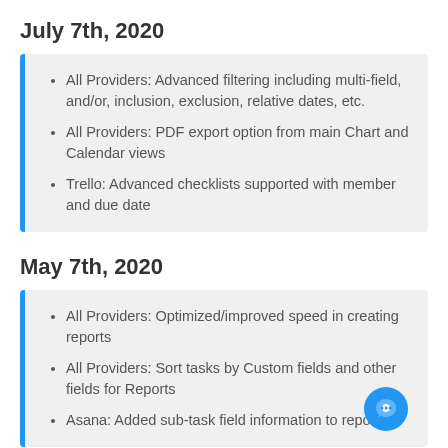July 7th, 2020
All Providers: Advanced filtering including multi-field, and/or, inclusion, exclusion, relative dates, etc.
All Providers: PDF export option from main Chart and Calendar views
Trello: Advanced checklists supported with member and due date
May 7th, 2020
All Providers: Optimized/improved speed in creating reports
All Providers: Sort tasks by Custom fields and other fields for Reports
Asana: Added sub-task field information to reports